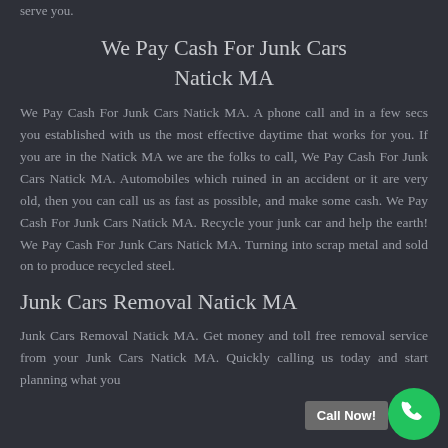serve you.
We Pay Cash For Junk Cars Natick MA
We Pay Cash For Junk Cars Natick MA. A phone call and in a few secs you established with us the most effective daytime that works for you. If you are in the Natick MA we are the folks to call, We Pay Cash For Junk Cars Natick MA. Automobiles which ruined in an accident or it are very old, then you can call us as fast as possible, and make some cash. We Pay Cash For Junk Cars Natick MA. Recycle your junk car and help the earth! We Pay Cash For Junk Cars Natick MA. Turning into scrap metal and sold on to produce recycled steel.
Junk Cars Removal Natick MA
Junk Cars Removal Natick MA. Get money and toll free removal service from your Junk Cars Natick MA. Quickly calling us today and start planning what you